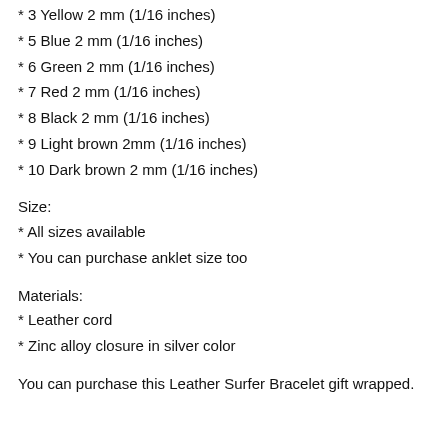* 3 Yellow 2 mm (1/16 inches)
* 5 Blue 2 mm (1/16 inches)
* 6 Green 2 mm (1/16 inches)
* 7 Red 2 mm (1/16 inches)
* 8 Black 2 mm (1/16 inches)
* 9 Light brown 2mm (1/16 inches)
* 10 Dark brown 2 mm (1/16 inches)
Size:
* All sizes available
* You can purchase anklet size too
Materials:
* Leather cord
* Zinc alloy closure in silver color
You can purchase this Leather Surfer Bracelet gift wrapped.